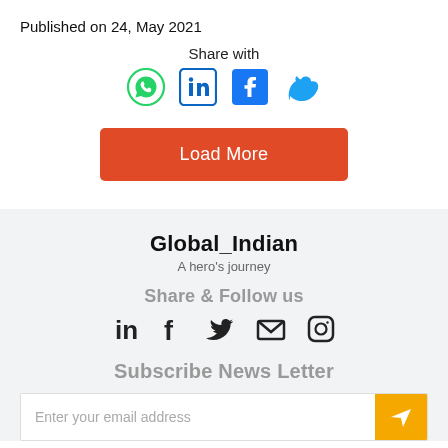Published on 24, May 2021
Share with
[Figure (infographic): Social share icons: WhatsApp, LinkedIn, Facebook, Twitter]
[Figure (other): Load More button (orange/red)]
Global_Indian
A hero's journey
Share & Follow us
[Figure (infographic): Footer social icons: LinkedIn, Facebook, Twitter, Email, Instagram]
Subscribe News Letter
[Figure (other): Email subscription input bar with yellow send button]